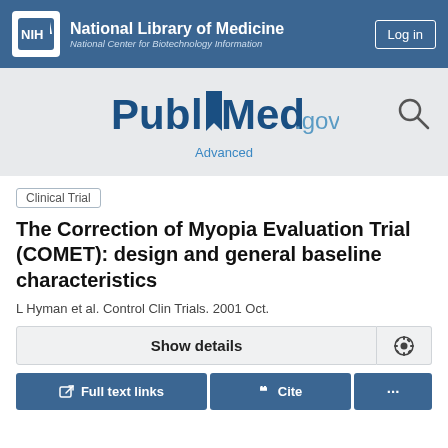NIH National Library of Medicine National Center for Biotechnology Information
[Figure (logo): PubMed.gov logo with search icon and Advanced link]
Clinical Trial
The Correction of Myopia Evaluation Trial (COMET): design and general baseline characteristics
L Hyman et al. Control Clin Trials. 2001 Oct.
Show details
Full text links  Cite  ...